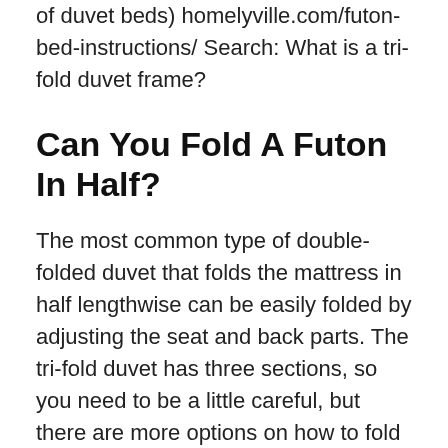of duvet beds) homelyville.com/futon-bed-instructions/ Search: What is a tri-fold duvet frame?
Can You Fold A Futon In Half?
The most common type of double-folded duvet that folds the mattress in half lengthwise can be easily folded by adjusting the seat and back parts. The tri-fold duvet has three sections, so you need to be a little careful, but there are more options on how to fold the duvet. Three Ways to Fold a Futon-wikiHowwww.wikihow.com/Fold-a-FutonSearch for: Can you fold the futon in